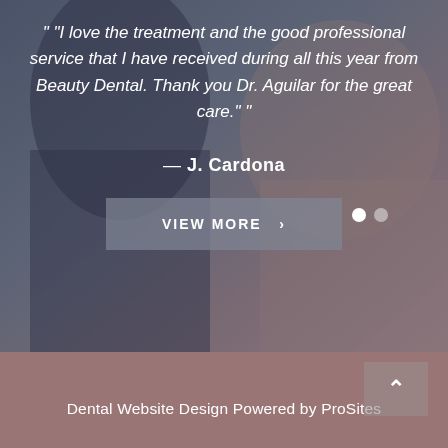[Figure (photo): Background photo of two smiling people at a dental office, overlaid with a semi-transparent blue-gray tint]
" "I love the treatment and the good professional service that I have received during all this year from Beauty Dental. Thank you Dr. Aguilar for the great care." "
— J. Cardona
VIEW MORE >
Dental Website Design Powered by ProSites